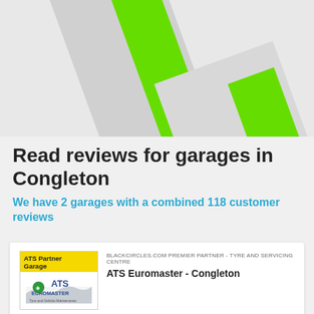[Figure (logo): ATS Euromaster logo background with diagonal green and grey stripes]
Read reviews for garages in Congleton
We have 2 garages with a combined 118 customer reviews
[Figure (logo): ATS Partner Garage / ATS Euromaster logo badge]
BLACKCIRCLES.COM PREMIER PARTNER - TYRE AND SERVICING CENTRE
ATS Euromaster - Congleton